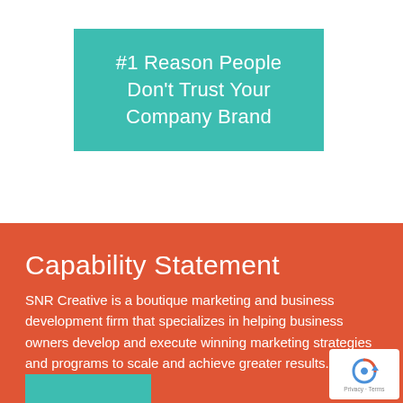#1 Reason People Don't Trust Your Company Brand
Capability Statement
SNR Creative is a boutique marketing and business development firm that specializes in helping business owners develop and execute winning marketing strategies and programs to scale and achieve greater results.